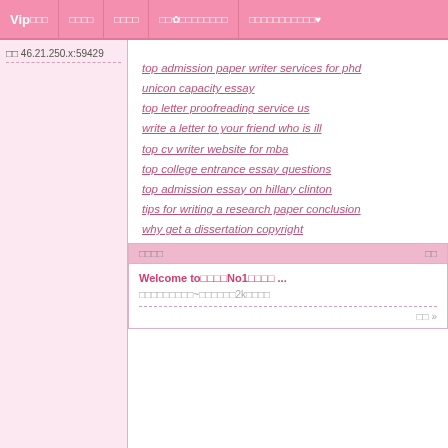Vip□□□  □□□□  □□□□  □□✿□□□□□□□□  □□□□□□□□□□□♥
□□ 46.21.250.x:59429
top admission paper writer services for phd
unicon capacity essay
top letter proofreading service us
write a letter to your friend who is ill
top cv writer website for mba
top college entrance essay questions
top admission essay on hillary clinton
tips for writing a research paper conclusion
why get a dissertation copyright
□□□□  □□
Welcome to□□□□No1□□□□ ...
□□□□□□□□□~□□□□□□2k□□□□